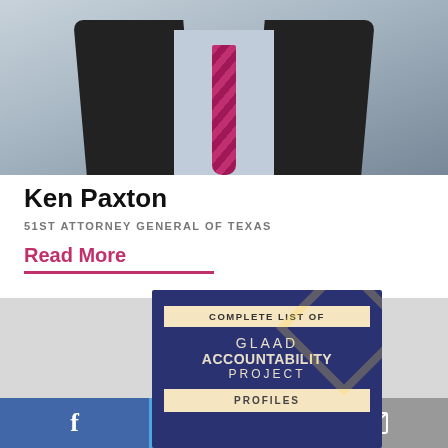[Figure (photo): Photo of Ken Paxton in dark suit with pink/magenta patterned tie and light blue shirt, torso/neck visible against blurred background]
Ken Paxton
51ST ATTORNEY GENERAL OF TEXAS
Read More
[Figure (infographic): GLAAD Accountability Project promotional graphic: dark navy/blue background with text 'COMPLETE LIST OF GLAAD ACCOUNTABILITY PROJECT PROFILES' in cream/tan banner boxes and white/cream lettering]
[Figure (logo): Facebook icon (f) in blue bar]
[Figure (logo): Twitter bird icon in light blue bar]
[Figure (logo): Email envelope icon in gray bar]